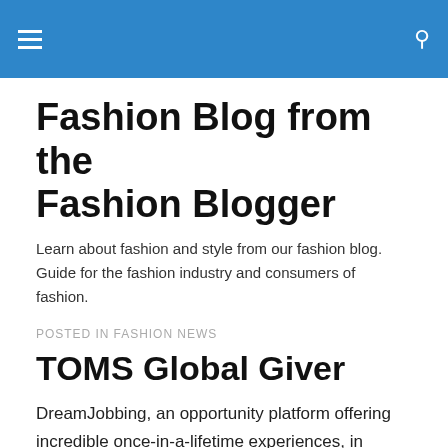Fashion Blog from the Fashion Blogger [header bar with hamburger menu and search icon]
Fashion Blog from the Fashion Blogger
Learn about fashion and style from our fashion blog. Guide for the fashion industry and consumers of fashion.
POSTED IN FASHION NEWS
TOMS Global Giver
DreamJobbing, an opportunity platform offering incredible once-in-a-lifetime experiences, in Partnership with TOMS, launched their newest DreamJob today: TOMS Global Giver.